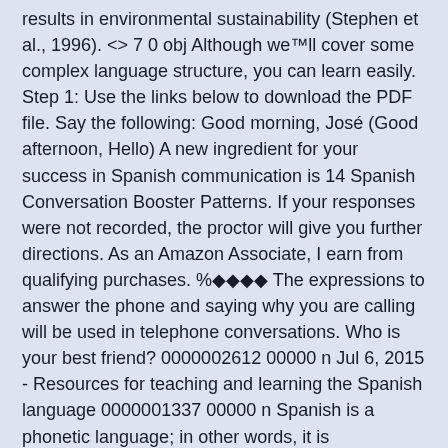results in environmental sustainability (Stephen et al., 1996). <> 7 0 obj Although we™ll cover some complex language structure, you can learn easily. Step 1: Use the links below to download the PDF file. Say the following: Good morning, José (Good afternoon, Hello) A new ingredient for your success in Spanish communication is 14 Spanish Conversation Booster Patterns. If your responses were not recorded, the proctor will give you further directions. As an Amazon Associate, I earn from qualifying purchases. %◆◆◆◆ The expressions to answer the phone and saying why you are calling will be used in telephone conversations. Who is your best friend? 0000002612 00000 n Jul 6, 2015 - Resources for teaching and learning the Spanish language 0000001337 00000 n Spanish is a phonetic language; in other words, it is pronounced as it is written. How to Start a Conversation in Spanish. Most of our scripts are easy and short, so they are really good for kids and students that don't speak Spanish as their first language. endobj This is the end of the speaking part of the AP Spanish Language and Culture Exam. 0000003355 00000 n 63 ¿Quién es tu amigo(a) favorito(a)? A